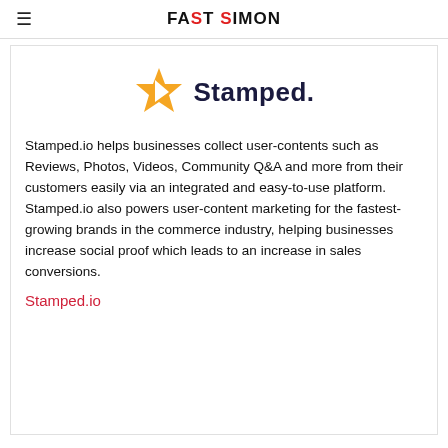FAST SIMON
[Figure (logo): Stamped logo: orange star icon with cut-out arrow shape, followed by bold dark navy text 'Stamped.' with a period]
Stamped.io helps businesses collect user-contents such as Reviews, Photos, Videos, Community Q&A and more from their customers easily via an integrated and easy-to-use platform. Stamped.io also powers user-content marketing for the fastest-growing brands in the commerce industry, helping businesses increase social proof which leads to an increase in sales conversions.
Stamped.io